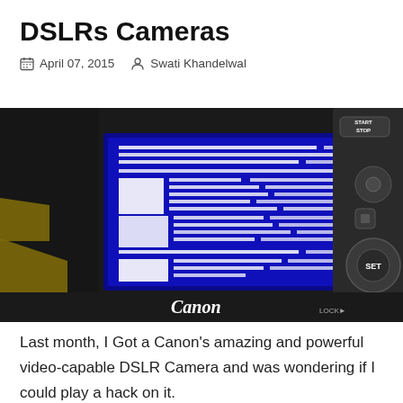DSLRs Cameras
April 07, 2015   Swati Khandelwal
[Figure (photo): A Canon DSLR camera displaying a blue screen of text/code on its LCD screen, with camera controls and Canon branding visible]
Last month, I Got a Canon's amazing and powerful video-capable DSLR Camera and was wondering if I could play a hack on it.